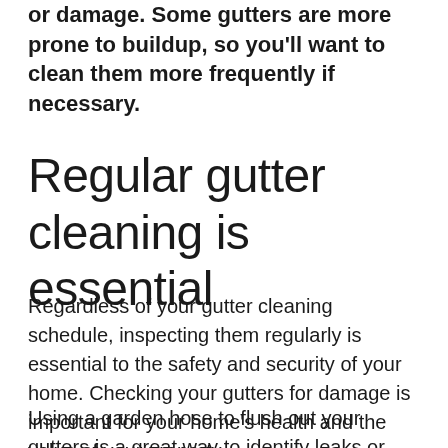or damage. Some gutters are more prone to buildup, so you'll want to clean them more frequently if necessary.
Regular gutter cleaning is essential
Regardless of your gutter cleaning schedule, inspecting them regularly is essential to the safety and security of your home. Checking your gutters for damage is important for your home's health and the value of your property.
Using a garden hose to flush out your gutters is a great way to identify leaks or